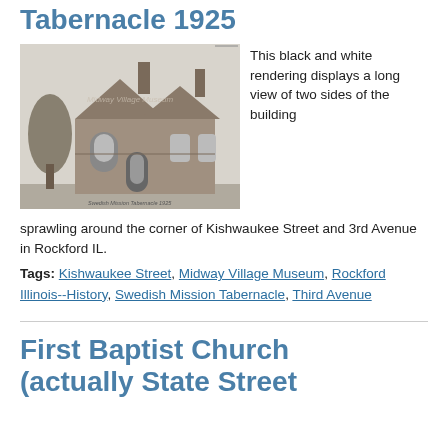Swedish Mission Tabernacle 1925
[Figure (photo): Black and white photograph of the Swedish Mission Tabernacle building, 1925, showing two sides of the building at the corner of Kishwaukee Street and 3rd Avenue in Rockford IL. Watermark reads 'Midway Village Museum'.]
This black and white rendering displays a long view of two sides of the building sprawling around the corner of Kishwaukee Street and 3rd Avenue in Rockford IL.
Tags: Kishwaukee Street, Midway Village Museum, Rockford Illinois--History, Swedish Mission Tabernacle, Third Avenue
First Baptist Church (actually State Street